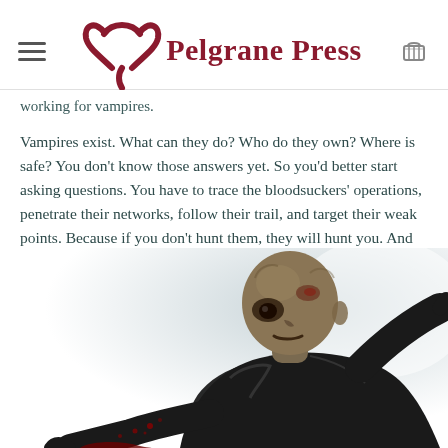Pelgrane Press
working for vampires.
Vampires exist. What can they do? Who do they own? Where is safe? You don't know those answers yet. So you'd better start asking questions. You have to trace the bloodsuckers' operations, penetrate their networks, follow their trail, and target their weak points. Because if you don't hunt them, they will hunt you. And they will kill you.
[Figure (illustration): A zombie/vampire creature in a black jacket, bald and grotesque, appearing to be struggling or falling, with blood visible. Dark, horror-themed illustration against a white/grey background.]